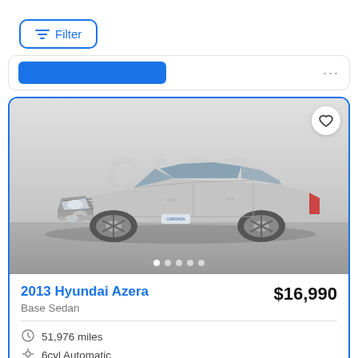[Figure (screenshot): Filter button with horizontal lines icon, blue border, top left of page]
[Figure (screenshot): Partial previous listing card with blue button and ellipsis dots]
[Figure (photo): 2013 Hyundai Azera silver sedan, 3/4 front view, on gray background, with CARS watermark, heart/favorite button, and dot navigation indicators]
2013 Hyundai Azera
$16,990
Base Sedan
51,976 miles
6cyl Automatic